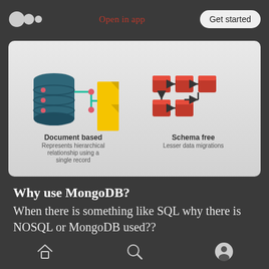Open in app | Get started
[Figure (infographic): Two-panel infographic showing MongoDB features: left panel shows a database cylinder connected to yellow document icons with label 'Document based - Represents hierarchical relationship using a single record'; right panel shows orange connected cube nodes with label 'Schema free - Lesser data migrations']
Why use MongoDB?
When there is something like SQL why there is NOSQL or MongoDB used??
There are a few reasons why MongoDB is widely used